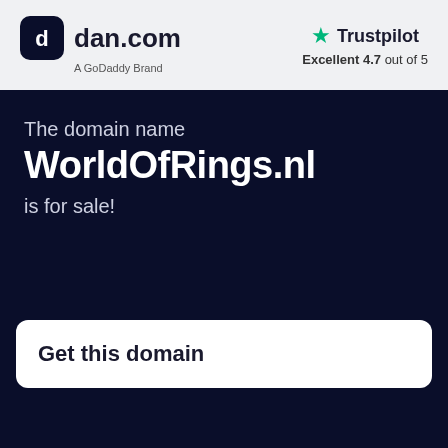[Figure (logo): dan.com logo — dark rounded square icon with 'd' letter, followed by 'dan.com' text in bold, and 'A GoDaddy Brand' subtitle]
[Figure (logo): Trustpilot logo with green star icon and 'Trustpilot' text, with 'Excellent 4.7 out of 5' rating below]
The domain name
WorldOfRings.nl
is for sale!
Get this domain
€500 /now
Buy